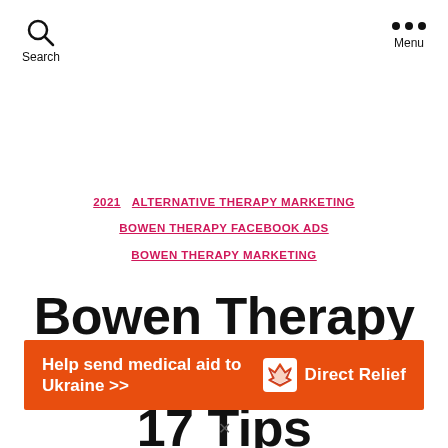Search | Menu
2021 ALTERNATIVE THERAPY MARKETING BOWEN THERAPY FACEBOOK ADS BOWEN THERAPY MARKETING
Bowen Therapy Facebook Ads: 17 Tips
[Figure (infographic): Orange advertisement banner reading 'Help send medical aid to Ukraine >>' with Direct Relief logo on the right side]